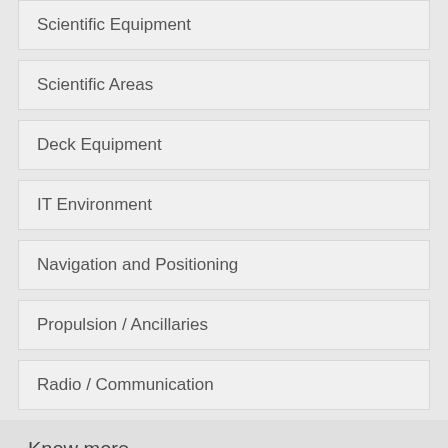Scientific Equipment
Scientific Areas
Deck Equipment
IT Environment
Navigation and Positioning
Propulsion / Ancillaries
Radio / Communication
Know more